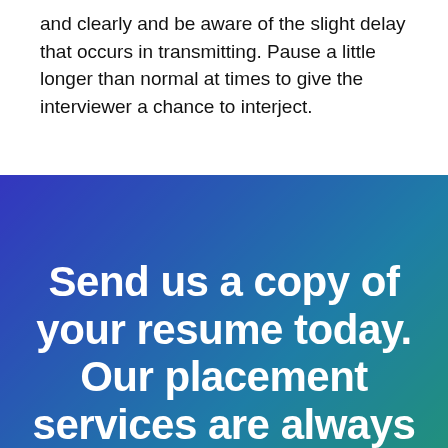and clearly and be aware of the slight delay that occurs in transmitting. Pause a little longer than normal at times to give the interviewer a chance to interject.
[Figure (photo): A photo of a smiling man wearing glasses, overlaid with a blue-to-green gradient. Large white bold text reads: 'Send us a copy of your resume today. Our placement services are always']